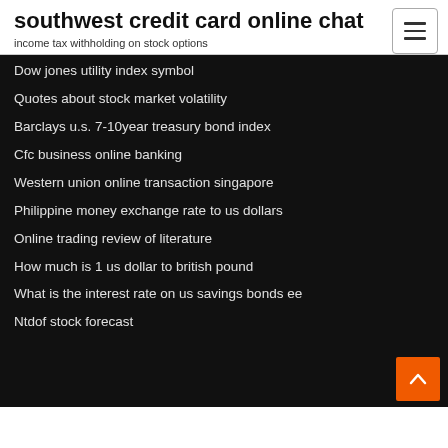southwest credit card online chat
income tax withholding on stock options
Dow jones utility index symbol
Quotes about stock market volatility
Barclays u.s. 7-10year treasury bond index
Cfc business online banking
Western union online transaction singapore
Philippine money exchange rate to us dollars
Online trading review of literature
How much is 1 us dollar to british pound
What is the interest rate on us savings bonds ee
Ntdof stock forecast